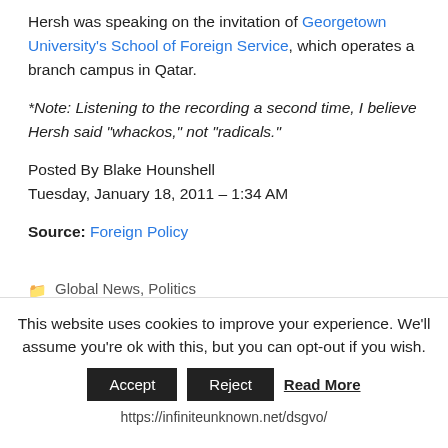Hersh was speaking on the invitation of Georgetown University's School of Foreign Service, which operates a branch campus in Qatar.
*Note: Listening to the recording a second time, I believe Hersh said “whackos,” not “radicals.”
Posted By Blake Hounshell
Tuesday, January 18, 2011 – 1:34 AM
Source: Foreign Policy
Global News, Politics
Afghanistan, Barack Obama, Benazir Bhutto, Bush administration, CIA, George Bush, Global News,
This website uses cookies to improve your experience. We'll assume you're ok with this, but you can opt-out if you wish.
Accept  Reject  Read More
https://infiniteunknown.net/dsgvo/